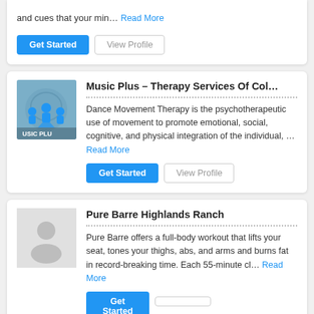and cues that your min… Read More
Get Started
View Profile
Music Plus – Therapy Services Of Col…
Dance Movement Therapy is the psychotherapeutic use of movement to promote emotional, social, cognitive, and physical integration of the individual, … Read More
Get Started
View Profile
Pure Barre Highlands Ranch
Pure Barre offers a full-body workout that lifts your seat, tones your thighs, abs, and arms and burns fat in record-breaking time. Each 55-minute cl… Read More